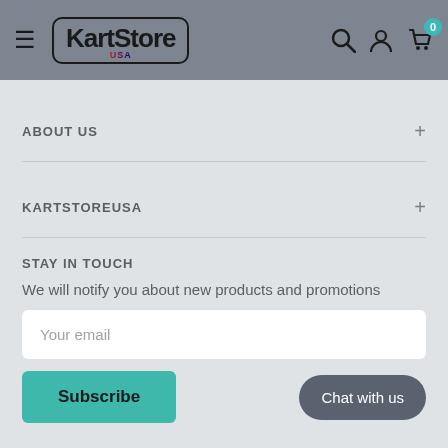[Figure (screenshot): KartStore USA website header with hamburger menu, logo, search icon, account icon, and cart with badge showing 0]
ABOUT US
KARTSTOREUSA
STAY IN TOUCH
We will notify you about new products and promotions
Your email
Subscribe
Chat with us